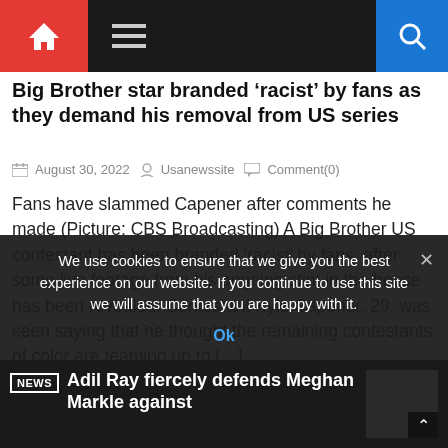Navigation bar with home icon, hamburger menu, and search icon
Big Brother star branded ‘racist’ by fans as they demand his removal from US series
August 30, 2022  Usanewssite  Comment(0)
Fans have slammed Capener after comments he made (Picture: CBS Broadcasting) A Big Brother US contestant has been branded ‘racist’ by fans, after some live footage from his ongoing stint in the house has been revealed. Contestant Kyle Capener, 29, was seen saying that he thought the remaining contestants of color are teaming up to […]
We use cookies to ensure that we give you the best experience on our website. If you continue to use this site we will assume that you are happy with it.
Ok
NEWS  Adil Ray fiercely defends Meghan Markle against